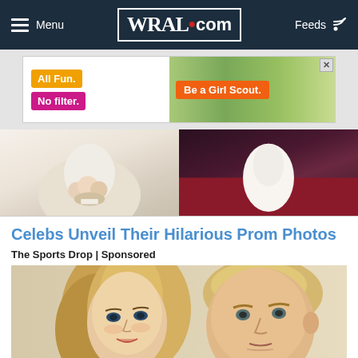WRAL.com — Menu | Feeds
[Figure (screenshot): Advertisement banner: All Fun. No filter. | Be a Girl Scout. with image of children]
[Figure (photo): Two prom photos side by side — left shows person holding flower bouquet, right shows person on red carpet]
Celebs Unveil Their Hilarious Prom Photos
The Sports Drop | Sponsored
[Figure (photo): Photo of two people — a woman with long blonde hair on the left and a man in a suit on the right]